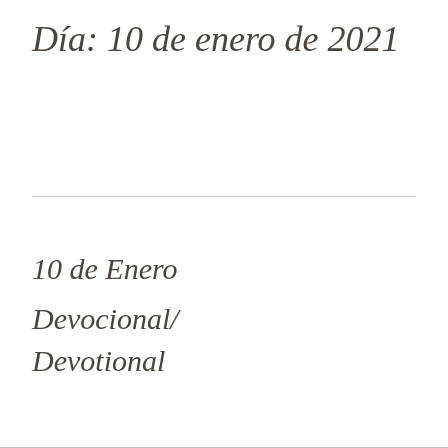Día: 10 de enero de 2021
10 de Enero
Devocional/ Devotional